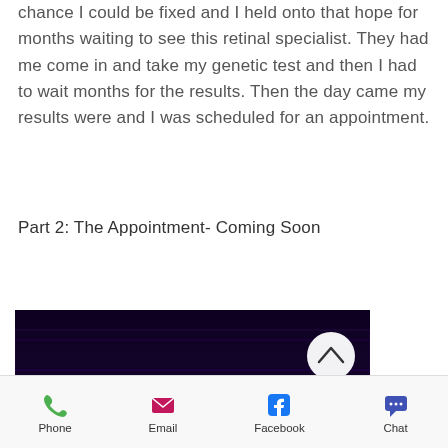chance I could be fixed and I held onto that hope for months waiting to see this retinal specialist. They had me come in and take my genetic test and then I had to wait months for the results. Then the day came my results were and I was scheduled for an appointment.
Part 2: The Appointment- Coming Soon
[Figure (screenshot): Dark purple/black background with a glowing magenta/pink circular arc at the bottom center, resembling a website or app background image with a scroll-up button (chevron up icon in white circle) in the top right corner.]
Phone   Email   Facebook   Chat